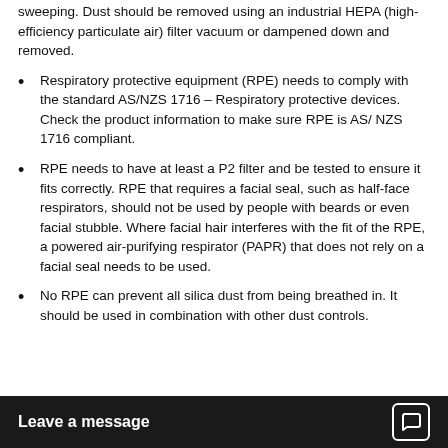sweeping. Dust should be removed using an industrial HEPA (high-efficiency particulate air) filter vacuum or dampened down and removed.
Respiratory protective equipment (RPE) needs to comply with the standard AS/NZS 1716 – Respiratory protective devices. Check the product information to make sure RPE is AS/ NZS 1716 compliant.
RPE needs to have at least a P2 filter and be tested to ensure it fits correctly. RPE that requires a facial seal, such as half-face respirators, should not be used by people with beards or even facial stubble. Where facial hair interferes with the fit of the RPE, a powered air-purifying respirator (PAPR) that does not rely on a facial seal needs to be used.
No RPE can prevent all silica dust from being breathed in. It should be used in combination with other dust controls.
Leave a message